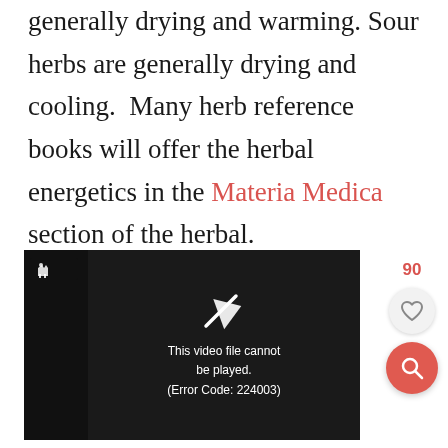generally drying and warming. Sour herbs are generally drying and cooling. Many herb reference books will offer the herbal energetics in the Materia Medica section of the herbal.
[Figure (screenshot): Video player showing error message: 'This video file cannot be played. (Error Code: 224003)' with a play icon and a small deer/animal logo in the top left corner of the player.]